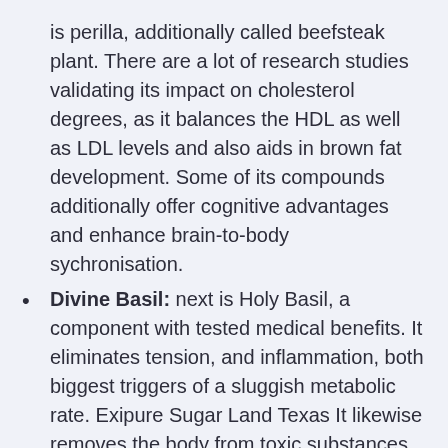is perilla, additionally called beefsteak plant. There are a lot of research studies validating its impact on cholesterol degrees, as it balances the HDL as well as LDL levels and also aids in brown fat development. Some of its compounds additionally offer cognitive advantages and enhance brain-to-body sychronisation.
Divine Basil: next is Holy Basil, a component with tested medical benefits. It eliminates tension, and inflammation, both biggest triggers of a sluggish metabolic rate. Exipure Sugar Land Texas It likewise removes the body from toxic substances, waste products, as well as cellular wastage, preserving suitable metabolic conditions for the body.
White Korean Ginseng: ...